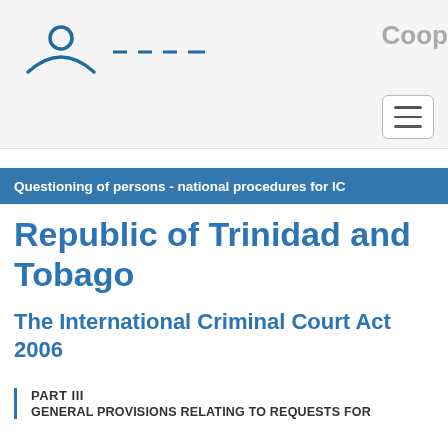Coop
Questioning of persons - national procedures for IC
Republic of Trinidad and Tobago
The International Criminal Court Act 2006
PART III
GENERAL PROVISIONS RELATING TO REQUESTS FOR